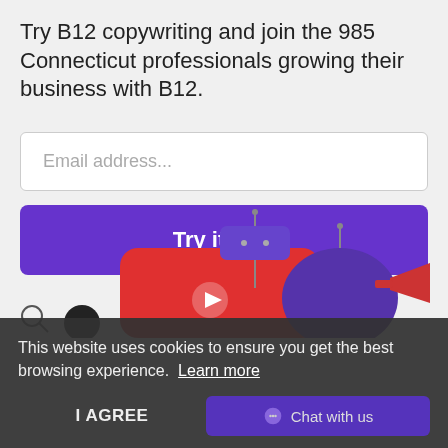Try B12 copywriting and join the 985 Connecticut professionals growing their business with B12.
Email address...
Try it now
[Figure (illustration): Cartoon robot/character illustration at bottom of page, partially visible, with red and purple figures and a small robot with antenna visible above the cookie banner.]
This website uses cookies to ensure you get the best browsing experience. Learn more
I AGREE
Chat with us